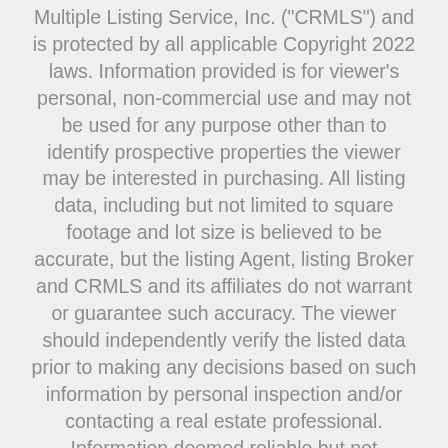Multiple Listing Service, Inc. ("CRMLS") and is protected by all applicable Copyright 2022 laws. Information provided is for viewer's personal, non-commercial use and may not be used for any purpose other than to identify prospective properties the viewer may be interested in purchasing. All listing data, including but not limited to square footage and lot size is believed to be accurate, but the listing Agent, listing Broker and CRMLS and its affiliates do not warrant or guarantee such accuracy. The viewer should independently verify the listed data prior to making any decisions based on such information by personal inspection and/or contacting a real estate professional. Information deemed reliable but not guaranteed.